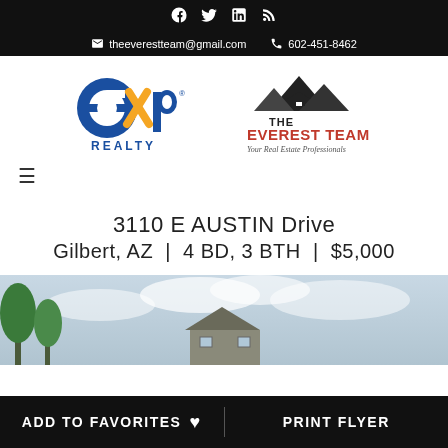Social icons: Facebook, Twitter, LinkedIn, RSS
theeverestteam@gmail.com  602-451-8462
[Figure (logo): eXp Realty logo and The Everest Team logo]
≡ (hamburger menu)
3110 E AUSTIN Drive
Gilbert, AZ  |  4 BD, 3 BTH  |  $5,000
[Figure (photo): Exterior photo of house with trees and cloudy sky]
ADD TO FAVORITES ♥    PRINT FLYER